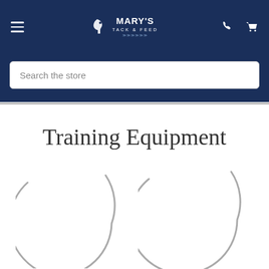Mary's Tack & Feed — navigation header with hamburger menu, logo, phone and cart icons
Search the store
Training Equipment
[Figure (illustration): Two partially visible circular product images (loading placeholders) shown as gray arcs/circles on white background]
[Figure (illustration): Second partially visible circular product placeholder image]